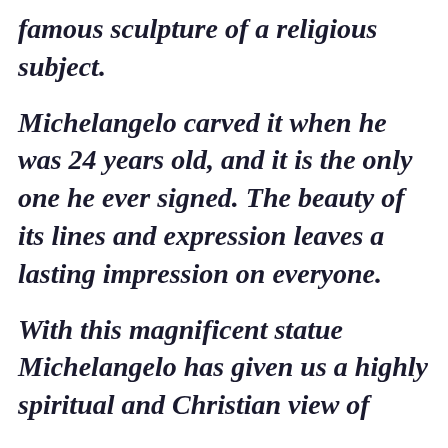famous sculpture of a religious subject. Michelangelo carved it when he was 24 years old, and it is the only one he ever signed. The beauty of its lines and expression leaves a lasting impression on everyone. With this magnificent statue Michelangelo has given us a highly spiritual and Christian view of